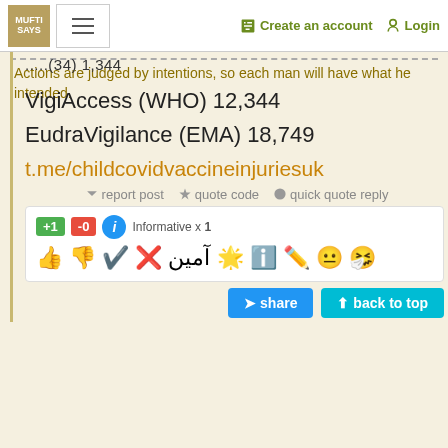MUFTI SAYS | Create an account | Login
....(34) 1,344
VigiAccess (WHO) 12,344
EudraVigilance (EMA) 18,749
t.me/childcovidvaccineinjuriesuk
report post   quote code   quick quote reply
+1  -0  Informative x 1
share   back to top
Actions are judged by intentions, so each man will have what he intended.